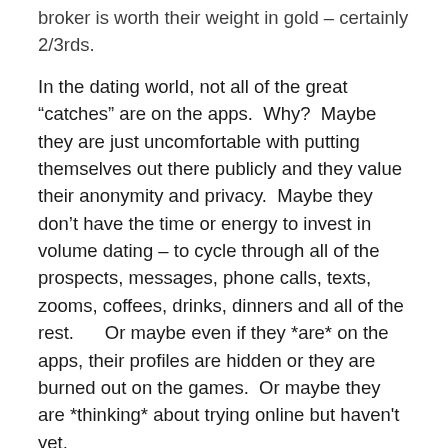broker is worth their weight in gold – certainly 2/3rds.
In the dating world, not all of the great “catches” are on the apps.  Why?  Maybe they are just uncomfortable with putting themselves out there publicly and they value their anonymity and privacy.  Maybe they don’t have the time or energy to invest in volume dating – to cycle through all of the prospects, messages, phone calls, texts, zooms, coffees, drinks, dinners and all of the rest.      Or maybe even if they *are* on the apps, their profiles are hidden or they are burned out on the games.  Or maybe they are *thinking* about trying online but haven't yet.
At Linx Dating, we are discreet, we protect your privacy, and we tap our existing massive vetted and trusted network of referrals to find your match whether they are online or not.  We can also do highly tailored outbound recruiting on your behalf and come with a stamp of